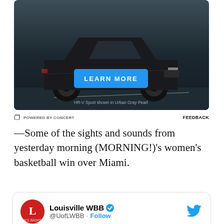[Figure (photo): Honda HR-V Sport advertisement showing a dark SUV on a dark road background with a blue 'LEARN MORE' button and caption 'HR-V Sport shown in Urban Gray Pearl.']
POWERED BY CONCERT   FEEDBACK
—Some of the sights and sounds from yesterday morning (MORNING!)'s women's basketball win over Miami.
[Figure (screenshot): Twitter/X card showing Louisville WBB account (@UofLWBB) with a red Cardinals logo avatar, verified checkmark, and Follow button.]